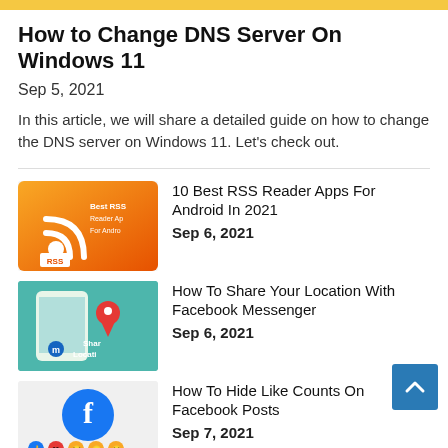How to Change DNS Server On Windows 11
Sep 5, 2021
In this article, we will share a detailed guide on how to change the DNS server on Windows 11. Let's check out.
[Figure (screenshot): Thumbnail for 10 Best RSS Reader Apps For Android In 2021 article - orange RSS icon with text]
10 Best RSS Reader Apps For Android In 2021
Sep 6, 2021
[Figure (screenshot): Thumbnail for How To Share Your Location With Facebook Messenger - phone with location pin on teal background]
How To Share Your Location With Facebook Messenger
Sep 6, 2021
[Figure (screenshot): Thumbnail for How To Hide Like Counts On Facebook Posts - Facebook logo with reaction emojis and Hide Like Counts text]
How To Hide Like Counts On Facebook Posts
Sep 7, 2021
[Figure (screenshot): Partial thumbnail for How To Post Anonymously In A Facebook article - blue background]
How To Post Anonymously In A Facebook